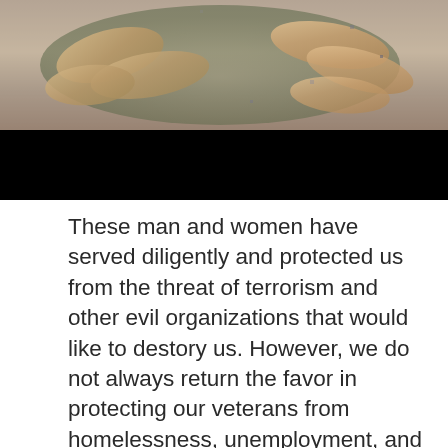[Figure (photo): Close-up photo of hands (fingers) handling something, with a black bar/strip at the bottom of the image.]
These man and women have served diligently and protected us from the threat of terrorism and other evil organizations that would like to destory us. However, we do not always return the favor in protecting our veterans from homelessness, unemployment, and mental health problems. Did you know that veterans are the most at risk people group in this country to death by suicide? Many veterans who have been discharged from military service have trouble integrating back into society and the programs provided by the Federal